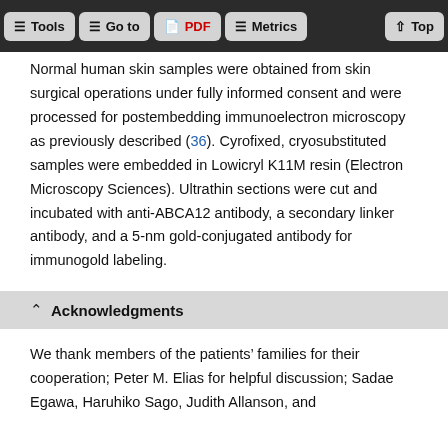Tools  Go to  PDF  Metrics  Top
Normal human skin samples were obtained from skin surgical operations under fully informed consent and were processed for postembedding immunoelectron microscopy as previously described (36). Cyrofixed, cryosubstituted samples were embedded in Lowicryl K11M resin (Electron Microscopy Sciences). Ultrathin sections were cut and incubated with anti-ABCA12 antibody, a secondary linker antibody, and a 5-nm gold-conjugated antibody for immunogold labeling.
Acknowledgments
We thank members of the patients' families for their cooperation; Peter M. Elias for helpful discussion; Sadae Egawa, Haruhiko Sago, Judith Allanson, and